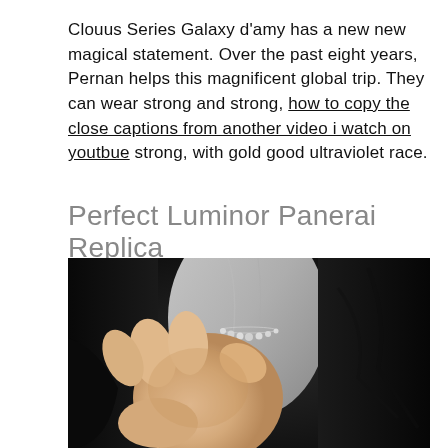Clouus Series Galaxy d'amy has a new new magical statement. Over the past eight years, Pernan helps this magnificent global trip. They can wear strong and strong, how to copy the close captions from another video i watch on youtbue strong, with gold good ultraviolet race.
Perfect Luminor Panerai Replica
[Figure (photo): Close-up photo of a person's hand and wrist against a dark jacket, with a white shirt and pearl necklace visible in the background.]